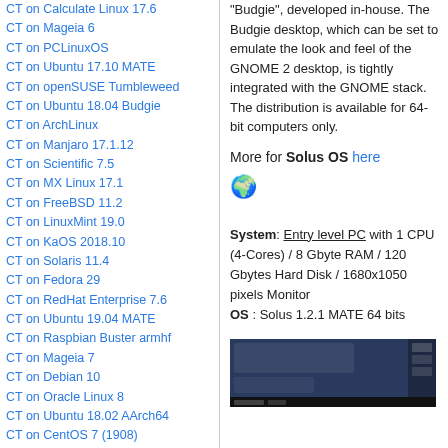CT on Calculate Linux 17.6
CT on Mageia 6
CT on PCLinuxOS
CT on Ubuntu 17.10 MATE
CT on openSUSE Tumbleweed
CT on Ubuntu 18.04 Budgie
CT on ArchLinux
CT on Manjaro 17.1.12
CT on Scientific 7.5
CT on MX Linux 17.1
CT on FreeBSD 11.2
CT on LinuxMint 19.0
CT on KaOS 2018.10
CT on Solaris 11.4
CT on Fedora 29
CT on RedHat Enterprise 7.6
CT on Ubuntu 19.04 MATE
CT on Raspbian Buster armhf
CT on Mageia 7
CT on Debian 10
CT on Oracle Linux 8
CT on Ubuntu 18.02 AArch64
CT on CentOS 7 (1908)
CT on PCLinuxOS 2019-09
CT on Parrot Security 4.7
CT on DragonFly 5.8.0
CT on NetBSD 9.1
CT on OpenBSD 6.8
CT on MacOS 11.1
CT on EndeavourOS
"Budgie", developed in-house. The Budgie desktop, which can be set to emulate the look and feel of the GNOME 2 desktop, is tightly integrated with the GNOME stack. The distribution is available for 64-bit computers only.
More for Solus OS here 🌍
System: Entry level PC with 1 CPU (4-Cores) / 8 Gbyte RAM / 120 Gbytes Hard Disk / 1680x1050 pixels Monitor
OS : Solus 1.2.1 MATE 64 bits
[Figure (screenshot): Screenshot of Solus 1.2.1 MATE desktop showing taskbar and application windows on dark background]